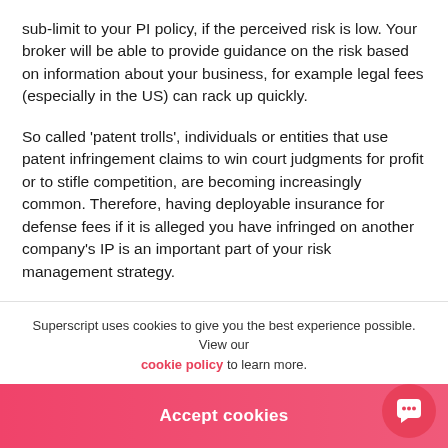sub-limit to your PI policy, if the perceived risk is low. Your broker will be able to provide guidance on the risk based on information about your business, for example legal fees (especially in the US) can rack up quickly.
So called 'patent trolls', individuals or entities that use patent infringement claims to win court judgments for profit or to stifle competition, are becoming increasingly common. Therefore, having deployable insurance for defense fees if it is alleged you have infringed on another company's IP is an important part of your risk management strategy.
Superscript uses cookies to give you the best experience possible. View our cookie policy to learn more.